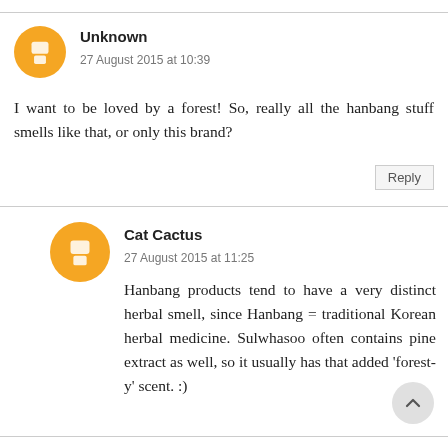Unknown
27 August 2015 at 10:39
I want to be loved by a forest! So, really all the hanbang stuff smells like that, or only this brand?
Reply
Cat Cactus
27 August 2015 at 11:25
Hanbang products tend to have a very distinct herbal smell, since Hanbang = traditional Korean herbal medicine. Sulwhasoo often contains pine extract as well, so it usually has that added 'forest-y' scent. :)